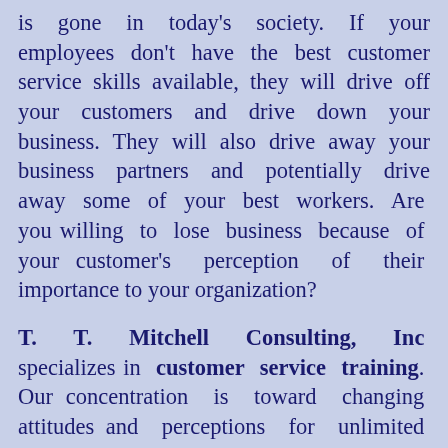is gone in today's society. If your employees don't have the best customer service skills available, they will drive off your customers and drive down your business. They will also drive away your business partners and potentially drive away some of your best workers. Are you willing to lose business because of your customer's perception of their importance to your organization?
T. T. Mitchell Consulting, Inc specializes in customer service training. Our concentration is toward changing attitudes and perceptions for unlimited growth. We are proven experts in the field of customer service and common courtesy, and have spoken on this topic throughout central New York and other parts of the country; let us work with you.